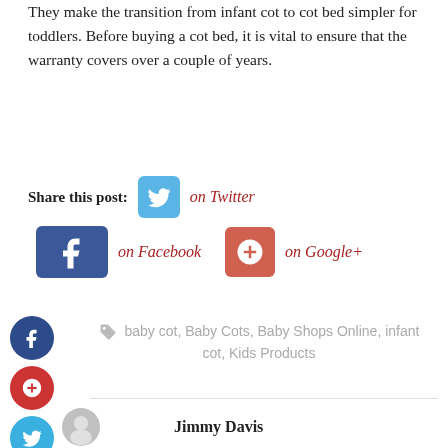They make the transition from infant cot to cot bed simpler for toddlers. Before buying a cot bed, it is vital to ensure that the warranty covers over a couple of years.
Share this post: on Twitter on Facebook on Google+
baby cot, Baby Cots, Baby Shops Online, infant cot, Kids Products
Jimmy Davis